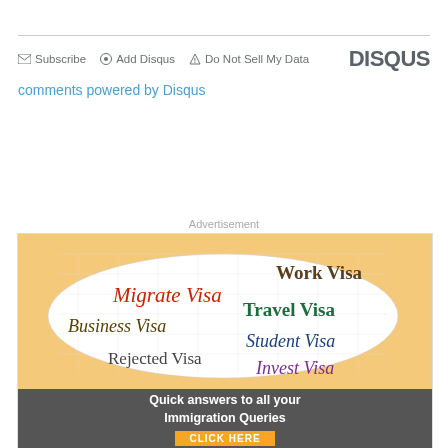Subscribe  Add Disqus  Do Not Sell My Data  DISQUS
comments powered by Disqus
Advertisement
[Figure (illustration): Immigration visa advertisement showing a puzzle cloud with text: Work Visa, Migrate Visa, Travel Visa, Business Visa, Student Visa, Rejected Visa, Invest Visa. Bottom banner reads: Quick answers to all your Immigration Queries. CLICK HERE button.]